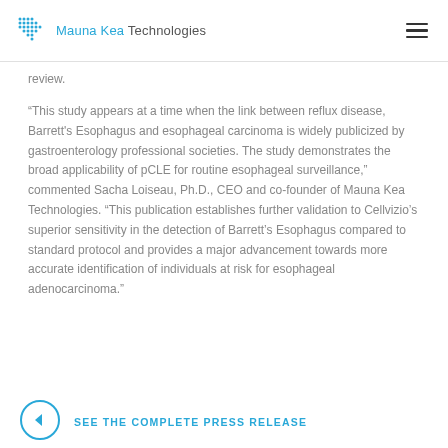Mauna Kea Technologies
review.
“This study appears at a time when the link between reflux disease, Barrett's Esophagus and esophageal carcinoma is widely publicized by gastroenterology professional societies. The study demonstrates the broad applicability of pCLE for routine esophageal surveillance,” commented Sacha Loiseau, Ph.D., CEO and co-founder of Mauna Kea Technologies. “This publication establishes further validation to Cellvizio’s superior sensitivity in the detection of Barrett’s Esophagus compared to standard protocol and provides a major advancement towards more accurate identification of individuals at risk for esophageal adenocarcinoma.”
SEE THE COMPLETE PRESS RELEASE